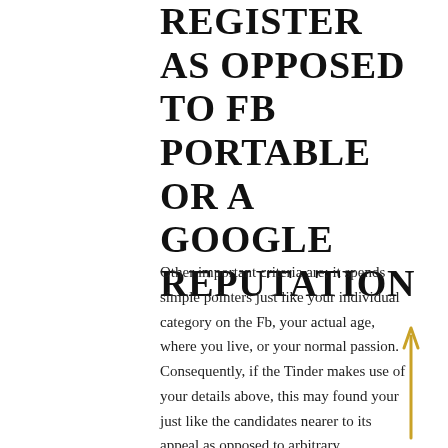REGISTER AS OPPOSED TO FB PORTABLE OR A GOOGLE REPUTATION
Other important criteria are; it spends simple pointers just like your individual category on the Fb, your actual age, where you live, or your normal passion. Consequently, if the Tinder makes use of your details above, this may found your just like the candidates nearer to its appeal as opposed to arbitrary